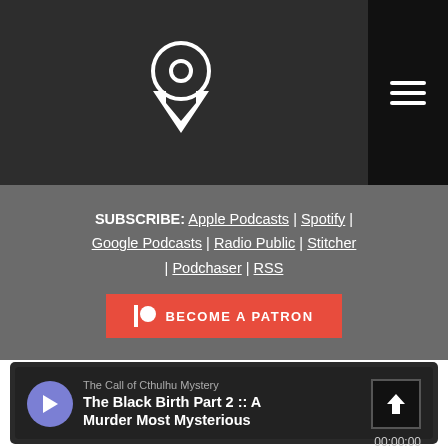[Figure (logo): White circular pin/location icon with downward arrow, on dark gray background, with hamburger menu icon top right]
SUBSCRIBE: Apple Podcasts | Spotify | Google Podcasts | Radio Public | Stitcher | Podchaser | RSS
[Figure (illustration): Red Patreon button reading 'BECOME A PATRON' with Patreon logo on left]
[Figure (screenshot): Podcast player widget showing 'The Call of Cthulhu Mystery - The Black Birth Part 2 :: A Murder Most Mysterious' with play button, waveform, timestamp 00:00:00, and footer links SHARE SUBSCRIBE COOKIE POLICY]